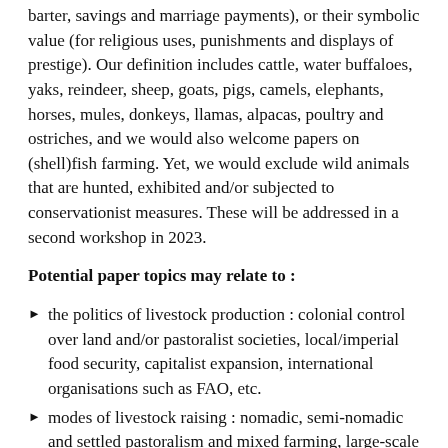barter, savings and marriage payments), or their symbolic value (for religious uses, punishments and displays of prestige). Our definition includes cattle, water buffaloes, yaks, reindeer, sheep, goats, pigs, camels, elephants, horses, mules, donkeys, llamas, alpacas, poultry and ostriches, and we would also welcome papers on (shell)fish farming. Yet, we would exclude wild animals that are hunted, exhibited and/or subjected to conservationist measures. These will be addressed in a second workshop in 2023.
Potential paper topics may relate to :
the politics of livestock production : colonial control over land and/or pastoralist societies, local/imperial food security, capitalist expansion, international organisations such as FAO, etc.
modes of livestock raising : nomadic, semi-nomadic and settled pastoralism and mixed farming, large-scale ranching, industrial animal farming, ownership by international corporations, etc.